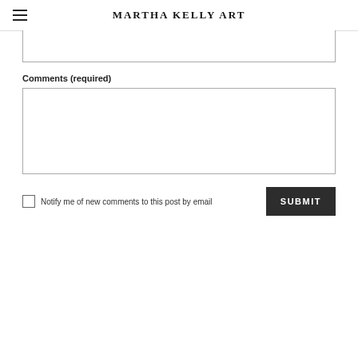MARTHA KELLY ART
[Figure (screenshot): Text input field (partially visible, cropped at top)]
Comments (required)
[Figure (screenshot): Large textarea input box for comments]
Notify me of new comments to this post by email
SUBMIT